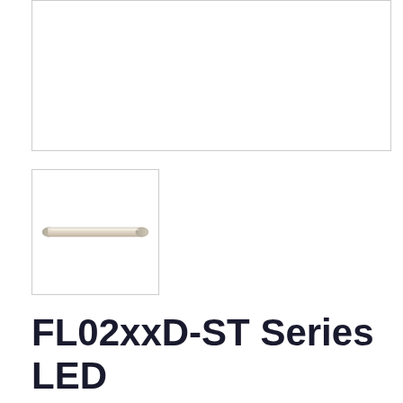[Figure (photo): Large white empty product image box showing main view of LED Mini Strip (image not loaded/blank)]
[Figure (photo): Thumbnail image of an LED Mini Strip — a slim horizontal tube-shaped light bar in light beige/white color]
FL02xxD-ST Series LED Mini Strip
FL0224D-ST  FL0239D-ST  FL0254D-ST  LED Mini Strip